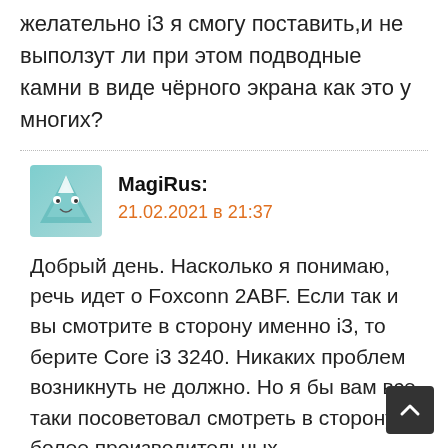желательно i3 я смогу поставить,и не выползут ли при этом подводные камни в виде чёрного экрана как это у многих?
MagiRus: 21.02.2021 в 21:37
Добрый день. Насколько я понимаю, речь идет о Foxconn 2ABF. Если так и вы смотрите в сторону именно i3, то берите Core i3 3240. Никаких проблем возникнуть не должно. Но я бы вам все таки посоветовал смотреть в сторону более производительных